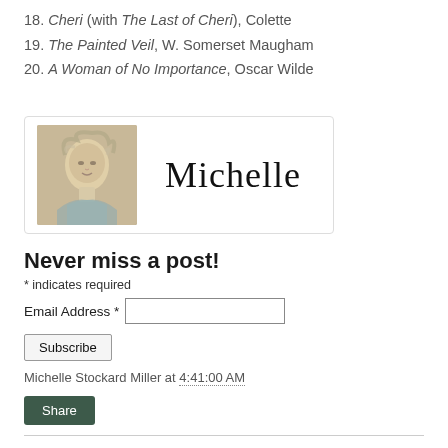18. Cheri (with The Last of Cheri), Colette
19. The Painted Veil, W. Somerset Maugham
20. A Woman of No Importance, Oscar Wilde
[Figure (illustration): A signature block containing a watercolor portrait of a woman with curly grey/blonde hair on the left, and a handwritten cursive signature reading 'Michelle' on the right, all within a rounded rectangle border.]
Never miss a post!
* indicates required
Email Address *
Subscribe
Michelle Stockard Miller at 4:41:00 AM
Share